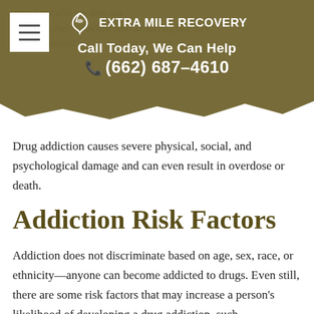Extra Mile Recovery — Call Today, We Can Help (662) 687-4610
Drug addiction causes severe physical, social, and psychological damage and can even result in overdose or death.
Addiction Risk Factors
Addiction does not discriminate based on age, sex, race, or ethnicity—anyone can become addicted to drugs. Even still, there are some risk factors that may increase a person's likelihood of developing a drug addiction, such